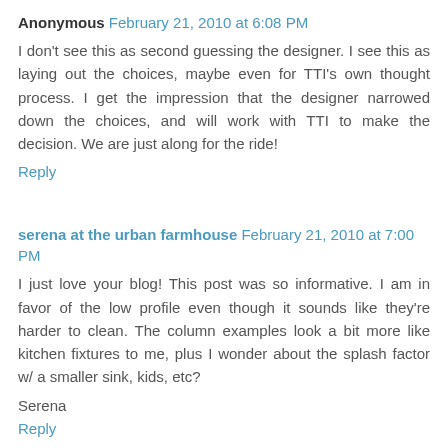Anonymous February 21, 2010 at 6:08 PM
I don't see this as second guessing the designer. I see this as laying out the choices, maybe even for TTI's own thought process. I get the impression that the designer narrowed down the choices, and will work with TTI to make the decision. We are just along for the ride!
Reply
serena at the urban farmhouse February 21, 2010 at 7:00 PM
I just love your blog! This post was so informative. I am in favor of the low profile even though it sounds like they're harder to clean. The column examples look a bit more like kitchen fixtures to me, plus I wonder about the splash factor w/ a smaller sink, kids, etc?
Serena
Reply